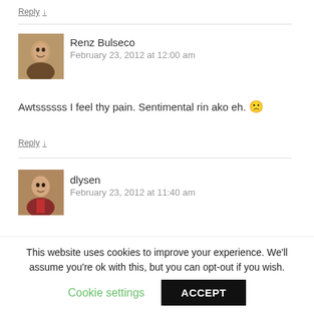Reply ↓
[Figure (photo): Avatar photo of Renz Bulseco]
Renz Bulseco
February 23, 2012 at 12:00 am
Awtssssss I feel thy pain. Sentimental rin ako eh. 😕
Reply ↓
[Figure (photo): Avatar photo of dlysen]
dlysen
February 23, 2012 at 11:40 am
This website uses cookies to improve your experience. We'll assume you're ok with this, but you can opt-out if you wish.
Cookie settings
ACCEPT